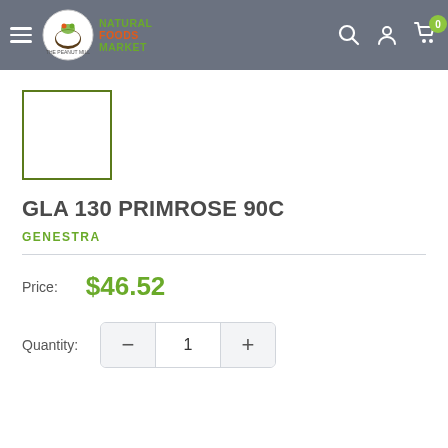Natural Foods Market — navigation header with hamburger menu, logo, search, account, and cart icons
[Figure (other): Product image placeholder — empty white box with olive green border]
GLA 130 PRIMROSE 90C
GENESTRA
Price: $46.52
Quantity: 1